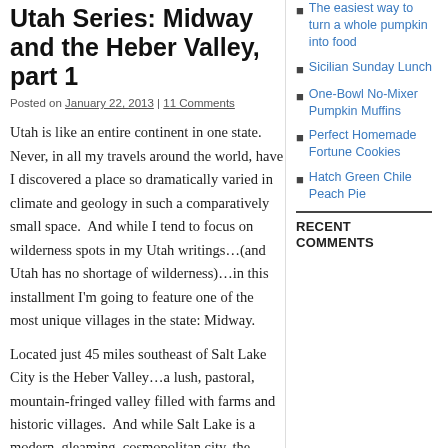Utah Series: Midway and the Heber Valley, part 1
Posted on January 22, 2013 | 11 Comments
Utah is like an entire continent in one state.  Never, in all my travels around the world, have I discovered a place so dramatically varied in climate and geology in such a comparatively small space.  And while I tend to focus on wilderness spots in my Utah writings…(and Utah has no shortage of wilderness)…in this installment I'm going to feature one of the most unique villages in the state: Midway.
Located just 45 miles southeast of Salt Lake City is the Heber Valley…a lush, pastoral, mountain-fringed valley filled with farms and historic villages.  And while Salt Lake is a modern, gleaming, cosmopolitan city, the rugged Wasatch mountain range has kept the Heber Valley feeling like yesteryear.  The sleepy villages in the valley are home to fantastic small inns
The easiest way to turn a whole pumpkin into food
Sicilian Sunday Lunch
One-Bowl No-Mixer Pumpkin Muffins
Perfect Homemade Fortune Cookies
Hatch Green Chile Peach Pie
RECENT COMMENTS